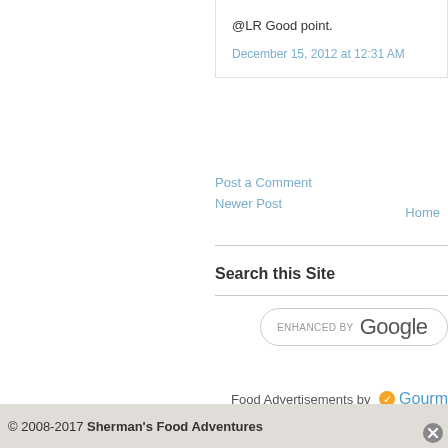@LR Good point.
December 15, 2012 at 12:31 AM
Post a Comment
Newer Post
Home
Search this Site
[Figure (screenshot): Google enhanced search box with 'ENHANCED BY Google' text]
Food Advertisements by Gourm
© 2008-2017 Sherman's Food Adventures